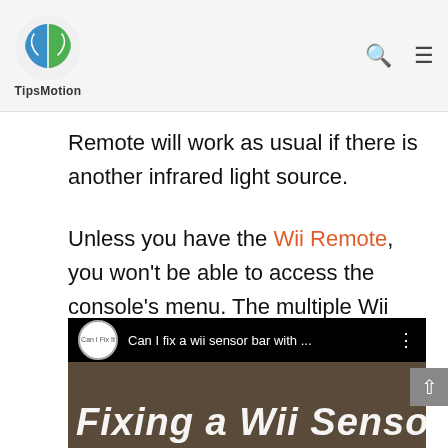TipsMotion
Remote will work as usual if there is another infrared light source.
Unless you have the Wii Remote, you won't be able to access the console's menu. The multiple Wii Remotes communicate with the sensor bar through infrared light, not with the television.
[Figure (screenshot): YouTube video thumbnail showing 'Can I fix a wii sensor bar with ...' with channel icon 'Can I Fix It' and partial title text 'Fixing a Wii Sensor' on a brown background]